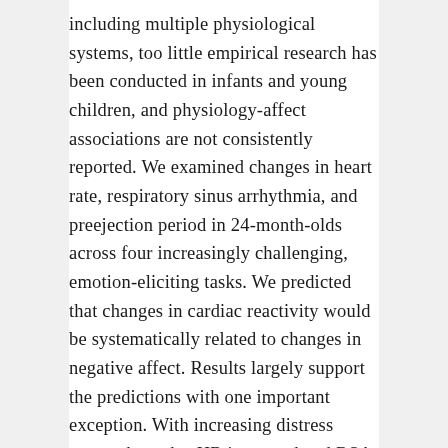including multiple physiological systems, too little empirical research has been conducted in infants and young children, and physiology-affect associations are not consistently reported. We examined changes in heart rate, respiratory sinus arrhythmia, and preejection period in 24-month-olds across four increasingly challenging, emotion-eliciting tasks. We predicted that changes in cardiac reactivity would be systematically related to changes in negative affect. Results largely support the predictions with one important exception. With increasing distress across the tasks, HR increased and RSA decreased. However, no